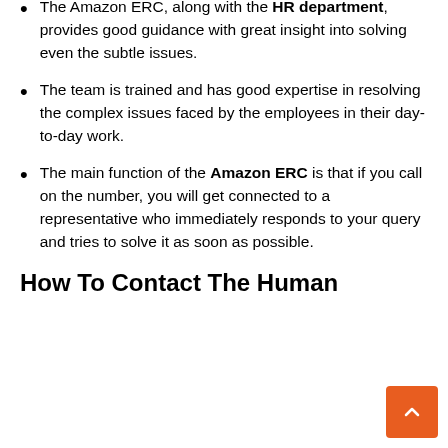Scheme and the problems of the employees.
The Amazon ERC, along with the HR department, provides good guidance with great insight into solving even the subtle issues.
The team is trained and has good expertise in resolving the complex issues faced by the employees in their day-to-day work.
The main function of the Amazon ERC is that if you call on the number, you will get connected to a representative who immediately responds to your query and tries to solve it as soon as possible.
How To Contact The Human